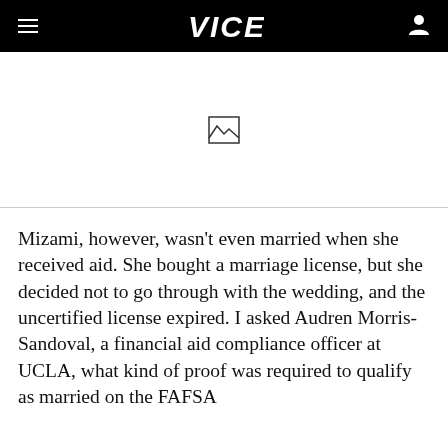VICE
[Figure (other): Image placeholder icon showing mountain/landscape symbol]
Mizami, however, wasn't even married when she received aid. She bought a marriage license, but she decided not to go through with the wedding, and the uncertified license expired. I asked Audren Morris-Sandoval, a financial aid compliance officer at UCLA, what kind of proof was required to qualify as married on the FAFSA